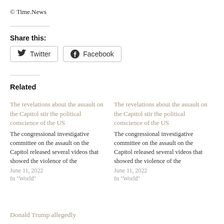© Time.News
Share this:
Twitter  Facebook
Related
The revelations about the assault on the Capitol stir the political conscience of the US
The congressional investigative committee on the assault on the Capitol released several videos that showed the violence of the
June 11, 2022
In "World"
The revelations about the assault on the Capitol stir the political conscience of the US
The congressional investigative committee on the assault on the Capitol released several videos that showed the violence of the
June 11, 2022
In "World"
Donald Trump allegedly